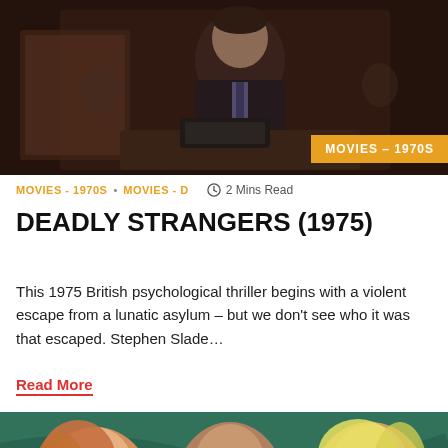[Figure (photo): A man in a dark suit sitting at a desk, dark dramatic film still from a 1970s movie]
MOVIES – 1970S
MOVIES - 1970S • MOVIES - D   🕐 2 Mins Read
DEADLY STRANGERS (1975)
This 1975 British psychological thriller begins with a violent escape from a lunatic asylum – but we don't see who it was that escaped. Stephen Slade…
Read More
[Figure (photo): Three people (two blonde women and a man with glasses) posed against a teal background, with a red upward arrow icon in the corner]